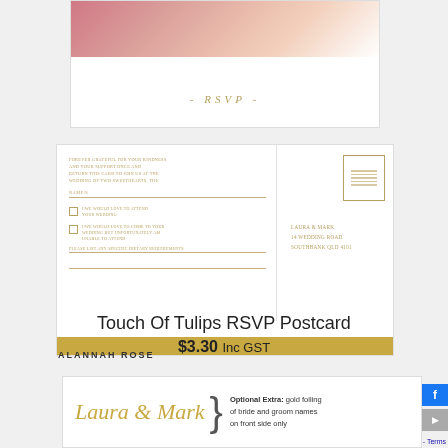[Figure (photo): Top portion of a floral RSVP postcard with tulip flowers at the top and '- RSVP -' text in gold italic lettering]
[Figure (photo): Main RSVP postcard showing left panel with RSVP text, checkboxes for attending/not attending, dietary requirements line, and right panel with stamp box placeholder and address 'LAURA & MARK, 14 WEDDING ROAD, SOUTHBANK QLD 4101'. Gold bar at bottom. Brand name 'ALANNAH ROSE' at lower left.]
Touch Of Tulips RSVP Postcard
$3.30 Inc GST
[Figure (photo): Bottom wedding stationery card showing 'Laura & Mark' in gold italic cursive script with a brace symbol and text 'Optional Extra: gold foiling of bride and groom names on front side only']